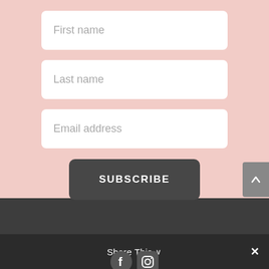[Figure (screenshot): Web form with First name, Last name, Email address input fields on pink background]
First name
Last name
Email address
SUBSCRIBE
Share This ∨  ✕